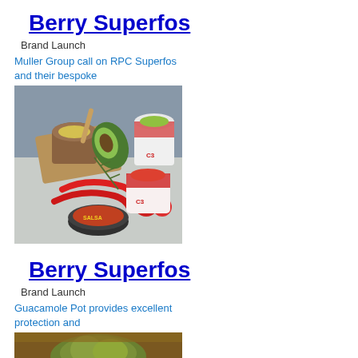Berry Superfos
Brand Launch
Muller Group call on RPC Superfos and their bespoke
[Figure (photo): Food products including salsa, guacamole and other dips in plastic containers displayed with fresh vegetables including avocado, chili peppers and tomatoes.]
Berry Superfos
Brand Launch
Guacamole Pot provides excellent protection and
[Figure (photo): Close-up photo of a guacamole product, dark background with green food visible.]